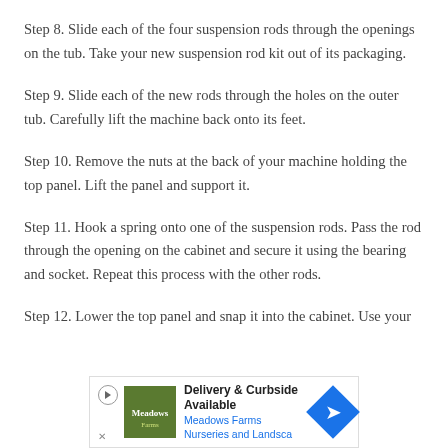Step 8. Slide each of the four suspension rods through the openings on the tub. Take your new suspension rod kit out of its packaging.
Step 9. Slide each of the new rods through the holes on the outer tub. Carefully lift the machine back onto its feet.
Step 10. Remove the nuts at the back of your machine holding the top panel. Lift the panel and support it.
Step 11. Hook a spring onto one of the suspension rods. Pass the rod through the opening on the cabinet and secure it using the bearing and socket. Repeat this process with the other rods.
Step 12. Lower the top panel and snap it into the cabinet. Use your
[Figure (other): Advertisement banner for Meadows Farms Nurseries and Landscape featuring Delivery & Curbside Available text with a navigation arrow icon]